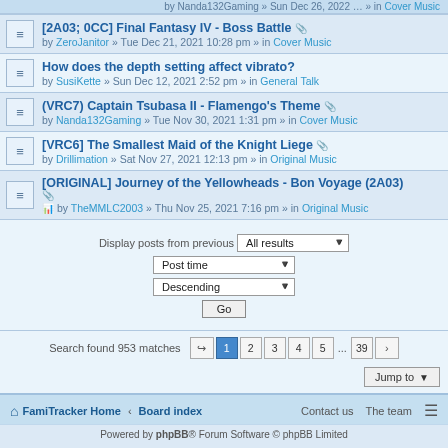[2A03; 0CC] Final Fantasy IV - Boss Battle by ZeroJanitor » Tue Dec 21, 2021 10:28 pm » in Cover Music
How does the depth setting affect vibrato? by SusiKette » Sun Dec 12, 2021 2:52 pm » in General Talk
(VRC7) Captain Tsubasa II - Flamengo's Theme by Nanda132Gaming » Tue Nov 30, 2021 1:31 pm » in Cover Music
[VRC6] The Smallest Maid of the Knight Liege by Drillimation » Sat Nov 27, 2021 12:13 pm » in Original Music
[ORIGINAL] Journey of the Yellowheads - Bon Voyage (2A03) by TheMMLС2003 » Thu Nov 25, 2021 7:16 pm » in Original Music
Display posts from previous: All results | Post time | Descending | Go
Search found 953 matches  1 2 3 4 5 ... 39 >
Jump to
FamiTracker Home · Board index   Contact us   The team
Powered by phpBB® Forum Software © phpBB Limited